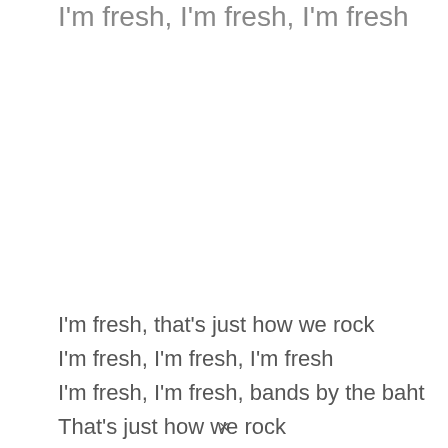I'm fresh, I'm fresh, I'm fresh
I'm fresh, that's just how we rock
I'm fresh, I'm fresh, I'm fresh
I'm fresh, I'm fresh, bands by the baht
That's just how we rock
×